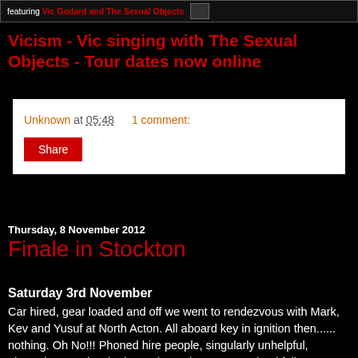[Figure (illustration): Black banner with text 'featuring Vic Godard and The Sexual Objects' in red bold, with a small arrow/button shape on the right]
Vicism - Vic singing with The Sexual Objects - Tour dates now online
Unknown at 05:48    1 comment:
Share
Thursday, 8 November 2012
Finale in Stockton
Saturday 3rd November
Car hired, gear loaded and off we went to rendezvous with Mark, Kev and Yusuf at North Acton. All aboard key in ignition then...... nothing. Oh No!!! Phoned hire people, singularly unhelpful, phoned  AA and waited. Two hours later we are thankfully on our way but with a dodgy connection on